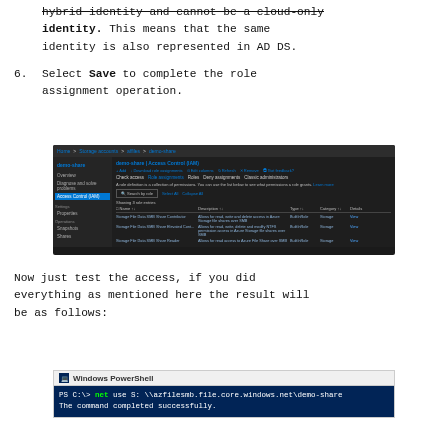hybrid identity and cannot be a cloud-only identity. This means that the same identity is also represented in AD DS.
6. Select Save to complete the role assignment operation.
[Figure (screenshot): Azure portal showing demo-share Access Control (IAM) page with role assignments table listing Storage File Data SMB roles]
Now just test the access, if you did everything as mentioned here the result will be as follows:
[Figure (screenshot): Windows PowerShell window showing command: PS C:\> net use S: \\azfilesmb.file.core.windows.net\demo-share and output: The command completed successfully.]